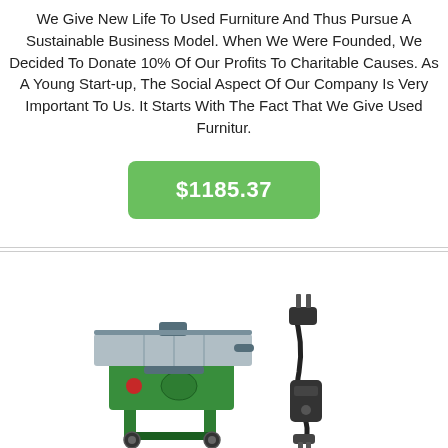We Give New Life To Used Furniture And Thus Pursue A Sustainable Business Model. When We Were Founded, We Decided To Donate 10% Of Our Profits To Charitable Causes. As A Young Start-up, The Social Aspect Of Our Company Is Very Important To Us. It Starts With The Fact That We Give Used Furnitur.
$1185.37
[Figure (photo): Product photo of a green table saw with a separate power cord/plug accessory shown to the right.]